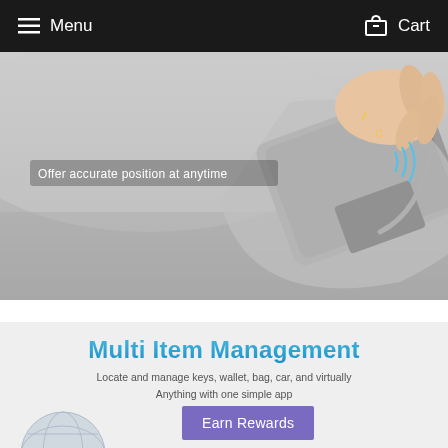Menu   Cart
[Figure (photo): Close-up photo of a grey fabric/pillow surface with a slim device (tracker) tucked into a fold. A hand is visible in the upper right corner. Overlay text reads 'Offer accurate position at anytime' with a musical note emoji and signal waves icon.]
Multi Item Management
Locate and manage keys, wallet, bag, car, and virtually
Anything with one simple app
[Figure (illustration): Partial view of a globe/tracker device illustration at the bottom left of the section.]
Earn Rewards